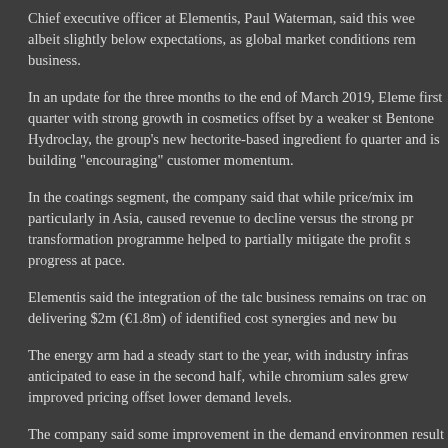Chief executive officer at Elementis, Paul Waterman, said this week, albeit slightly below expectations, as global market conditions rem business.
In an update for the three months to the end of March 2019, Eleme first quarter with strong growth in cosmetics offset by a weaker st Bentone Hydroclay, the group's new hectorite-based ingredient fo quarter and is building "encouraging" customer momentum.
In the coatings segment, the company said that while price/mix im particularly in Asia, caused revenue to decline versus the strong pr transformation programme helped to partially mitigate the profit s progress at pace.
Elementis said the integration of the talc business remains on trac on delivering $2m (€1.8m) of identified cost synergies and new bu
The energy arm had a steady start to the year, with industry infras anticipated to ease in the second half, while chromium sales grew improved pricing offset lower demand levels.
The company said some improvement in the demand environmen result in a stronger performance in the second half.
Chief executive officer Paul Waterman said: "Whilst trading conditi challenging, Elementis remains focused on delivery, improving retu both the integration of the Talc business and the successful fulfil